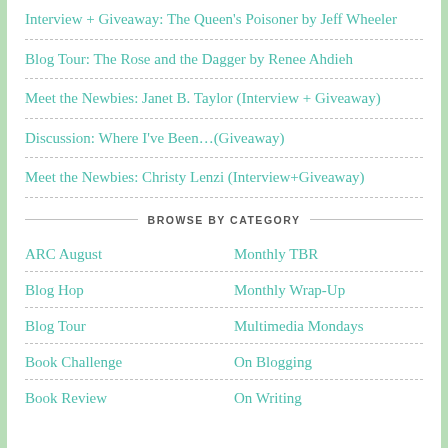Interview + Giveaway: The Queen's Poisoner by Jeff Wheeler
Blog Tour: The Rose and the Dagger by Renee Ahdieh
Meet the Newbies: Janet B. Taylor (Interview + Giveaway)
Discussion: Where I've Been…(Giveaway)
Meet the Newbies: Christy Lenzi (Interview+Giveaway)
BROWSE BY CATEGORY
ARC August
Monthly TBR
Blog Hop
Monthly Wrap-Up
Blog Tour
Multimedia Mondays
Book Challenge
On Blogging
Book Review
On Writing